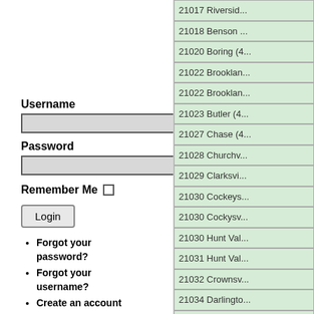Username
Password
Remember Me
Login
Forgot your password?
Forgot your username?
Create an account
[Figure (other): Red plus button icon]
| 21017 Riversid... |
| 21018 Benson ... |
| 21020 Boring (4... |
| 21022 Brooklan... |
| 21022 Brooklan... |
| 21023 Butler (4... |
| 21027 Chase (4... |
| 21028 Churchv... |
| 21029 Clarksvi... |
| 21030 Cockeys... |
| 21030 Cockysv... |
| 21030 Hunt Val... |
| 21031 Hunt Val... |
| 21032 Crownsv... |
| 21034 Darlingto... |
| 21035 Davidson... |
| 21036 Dayton (... |
| 21037 Beverley... |
| 21037 Edgewa... |
| 21037 Edgewa... |
| 21037 Woodlan... |